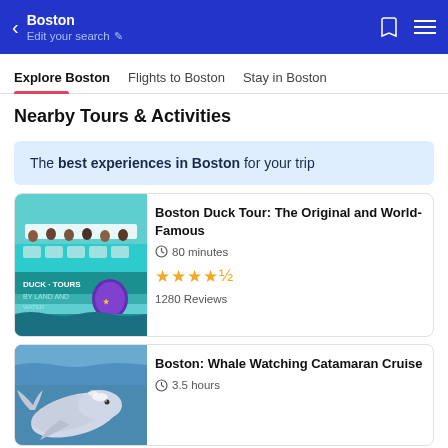Boston — Edit your search
Explore Boston | Flights to Boston | Stay in Boston
Nearby Tours & Activities
The best experiences in Boston for your trip
Boston Duck Tour: The Original and World-Famous — 80 minutes — 4.5 stars — 1280 Reviews
Boston: Whale Watching Catamaran Cruise — 3.5 hours